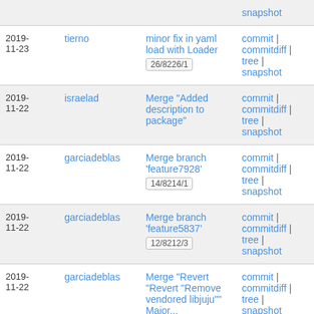| Date | Author | Commit message | Actions |
| --- | --- | --- | --- |
| 2019-11-23 | tierno | minor fix in yaml load with Loader 26/8226/1 | commit | commitdiff | tree | snapshot |
| 2019-11-22 | israelad | Merge "Added description to package" | commit | commitdiff | tree | snapshot |
| 2019-11-22 | garciadeblas | Merge branch 'feature7928' 14/8214/1 | commit | commitdiff | tree | snapshot |
| 2019-11-22 | garciadeblas | Merge branch 'feature5837' 12/8212/3 | commit | commitdiff | tree | snapshot |
| 2019-11-22 | garciadeblas | Merge "Revert "Revert "Remove vendored libjuju"" Major... | commit | commitdiff | tree | snapshot |
| 2019- | quilesj | New N2VC API: generic | commit | |